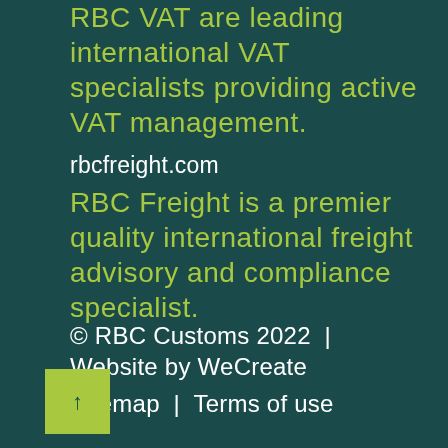RBC VAT are leading international VAT specialists providing active VAT management.
rbcfreight.com
RBC Freight is a premier quality international freight advisory and compliance specialist.
© RBC Customs 2022  |  Website by WeCreate
Sitemap  |  Terms of use